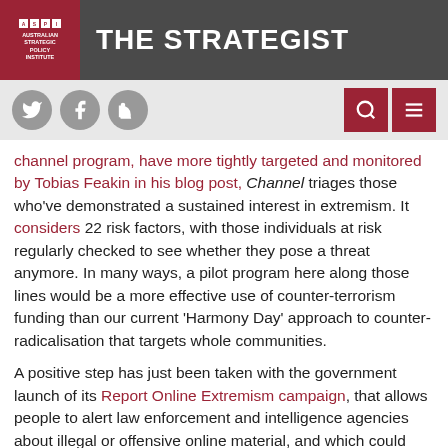THE STRATEGIST — Australian Strategic Policy Institute
channel program, have more tightly targeted and monitored by Tobias Feakin in his blog post, Channel triages those who've demonstrated a sustained interest in extremism. It considers 22 risk factors, with those individuals at risk regularly checked to see whether they pose a threat anymore. In many ways, a pilot program here along those lines would be a more effective use of counter-terrorism funding than our current 'Harmony Day' approach to counter-radicalisation that targets whole communities.
A positive step has just been taken with the government launch of its Report Online Extremism campaign, that allows people to alert law enforcement and intelligence agencies about illegal or offensive online material, and which could lead to sites being shut down if hosted in Australia or prosecuting people if crimes have been committed.